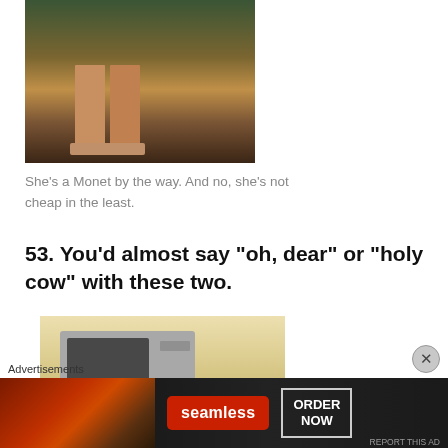[Figure (photo): Photo of a woman's lower body in a sequined mini dress and nude heels]
She’s a Monet by the way. And no, she’s not cheap in the least.
53. You’d almost say “oh, dear” or “holy cow” with these two.
[Figure (photo): Photo showing interior scene with a microwave on a light-colored background]
Advertisements
[Figure (screenshot): Seamless food delivery advertisement banner with pizza image, Seamless logo, and ORDER NOW button]